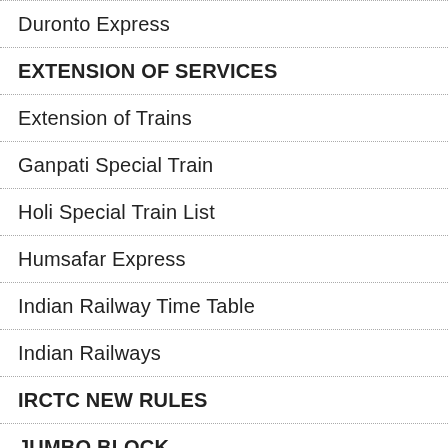Duronto Express
EXTENSION OF SERVICES
Extension of Trains
Ganpati Special Train
Holi Special Train List
Humsafar Express
Indian Railway Time Table
Indian Railways
IRCTC NEW RULES
JUMBO BLOCK
Konkan Railway